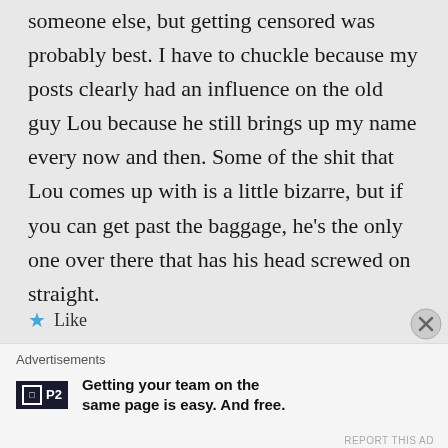someone else, but getting censored was probably best. I have to chuckle because my posts clearly had an influence on the old guy Lou because he still brings up my name every now and then. Some of the shit that Lou comes up with is a little bizarre, but if you can get past the baggage, he's the only one over there that has his head screwed on straight.
★ Like
Advertisements
[Figure (logo): P2 logo — dark rectangle with white border square and P2 text]
Getting your team on the same page is easy. And free.